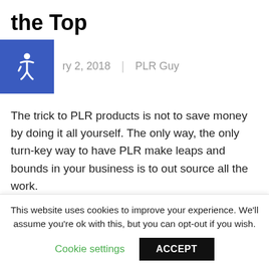the Top
ry 2, 2018  |  PLR Guy
The trick to PLR products is not to save money by doing it all yourself. The only way, the only turn-key way to have PLR make leaps and bounds in your business is to out source all the work.
Outsourcing is not some evil as the media would have you believe. It is a vital business move which allows you more time for...
This website uses cookies to improve your experience. We'll assume you're ok with this, but you can opt-out if you wish. Cookie settings  ACCEPT